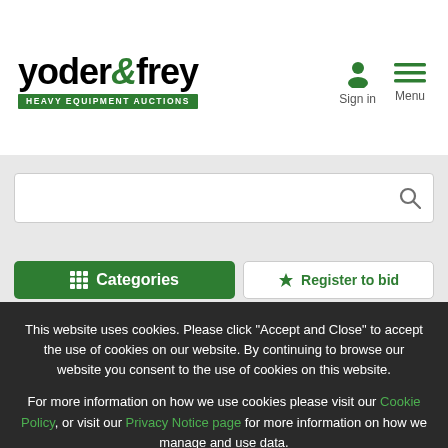yoder & frey HEAVY EQUIPMENT AUCTIONS
[Figure (screenshot): Search bar with magnifying glass icon]
[Figure (screenshot): Categories button (green) and Register to bid button]
This website uses cookies. Please click "Accept and Close" to accept the use of cookies on our website. By continuing to browse our website you consent to the use of cookies on this website.
For more information on how we use cookies please visit our Cookie Policy, or visit our Privacy Notice page for more information on how we manage and use data.
Accept and close